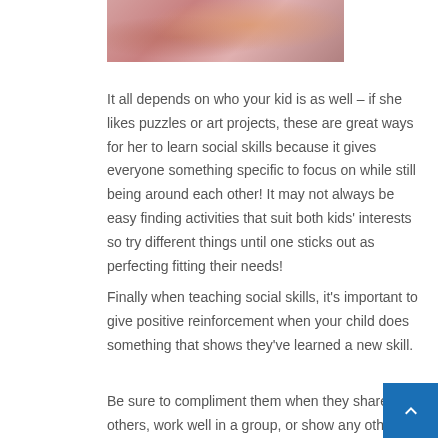[Figure (photo): Partial photo of a child, likely doing an activity, cropped at top of page]
It all depends on who your kid is as well – if she likes puzzles or art projects, these are great ways for her to learn social skills because it gives everyone something specific to focus on while still being around each other! It may not always be easy finding activities that suit both kids' interests so try different things until one sticks out as perfecting fitting their needs!
Finally when teaching social skills, it's important to give positive reinforcement when your child does something that shows they've learned a new skill.
Be sure to compliment them when they share with others, work well in a group, or show any other